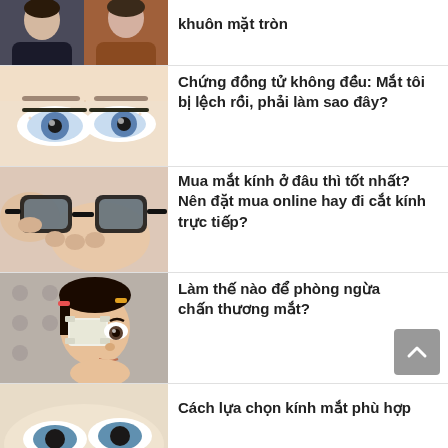[Figure (photo): Two women, one in dark shirt one in brown jacket, partial view cropped at top]
khuôn mặt tròn
[Figure (photo): Close-up of a person's eyes showing uneven pupils]
Chứng đồng tử không đều: Mắt tôi bị lệch rồi, phải làm sao đây?
[Figure (photo): Person holding eyeglasses with both hands, close-up]
Mua mắt kính ở đâu thì tốt nhất? Nên đặt mua online hay đi cắt kính trực tiếp?
[Figure (photo): Young girl with bandage over one eye, resting chin on hand]
Làm thế nào để phòng ngừa chấn thương mắt?
[Figure (photo): Partial view of person's eyes, bottom of page cropped]
Cách lựa chọn kính mắt phù hợp